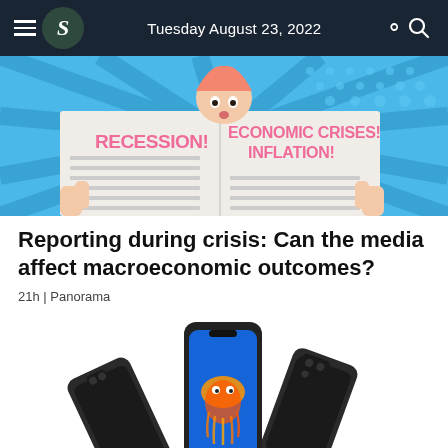Tuesday August 23, 2022
[Figure (illustration): Comic-style illustration of a person reading a newspaper with headlines: RECESSION!, ECONOMIC CRISES!, INFLATION! on a blue halftone background]
Reporting during crisis: Can the media affect macroeconomic outcomes?
21h | Panorama
[Figure (photo): Product photo showing three dark-colored smartphones arranged at angles, one with a blue screen displaying an android/jellyfish logo]